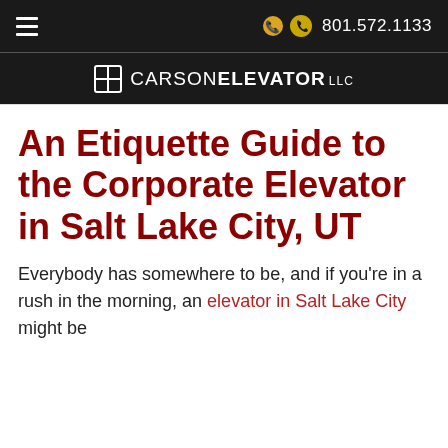☰   801.572.1133
CARSON ELEVATOR LLC
An Etiquette Guide to the Corporate Elevator in Salt Lake City, UT
Everybody has somewhere to be, and if you're in a rush in the morning, an elevator in Salt Lake City might be a lot more crowded than you'd like.